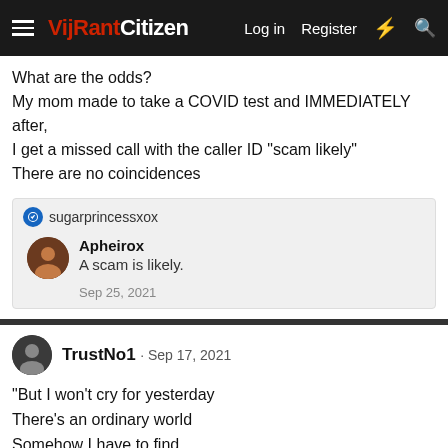VijRant Citizen — Log in  Register
What are the odds?
My mom made to take a COVID test and IMMEDIATELY after, I get a missed call with the caller ID "scam likely"
There are no coincidences
sugarprincessxox
Apheirox
A scam is likely.
Sep 25, 2021
TrustNo1 · Sep 17, 2021
"But I won't cry for yesterday
There's an ordinary world
Somehow I have to find
And as I try to make my way